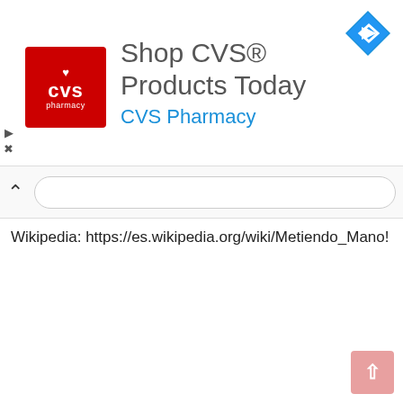[Figure (screenshot): CVS Pharmacy advertisement banner with red CVS logo, text 'Shop CVS® Products Today' and 'CVS Pharmacy' in blue, and a blue navigation arrow icon on the right]
Wikipedia: https://es.wikipedia.org/wiki/Metiendo_Mano!